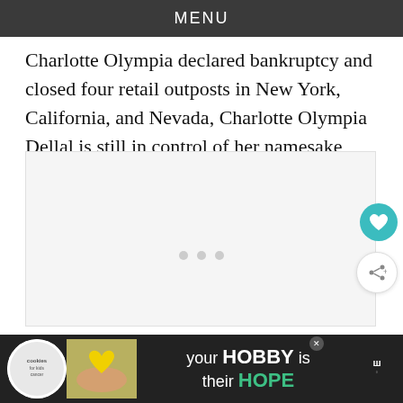MENU
Charlotte Olympia declared bankruptcy and closed four retail outposts in New York, California, and Nevada, Charlotte Olympia Dellal is still in control of her namesake brand.
[Figure (other): White content area with loading dots and interactive heart and share buttons on the right side]
[Figure (other): Bottom advertisement bar: cookies for kids cancer logo, hands holding heart-shaped cookie image, text 'your HOBBY is their HOPE', close button, and brand logo]